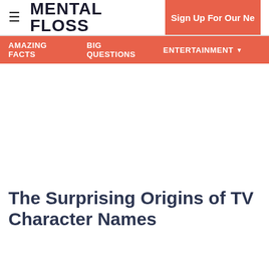≡ MENTAL FLOSS  Sign Up For Our Ne
AMAZING FACTS  BIG QUESTIONS  ENTERTAINMENT ▾
The Surprising Origins of TV Character Names